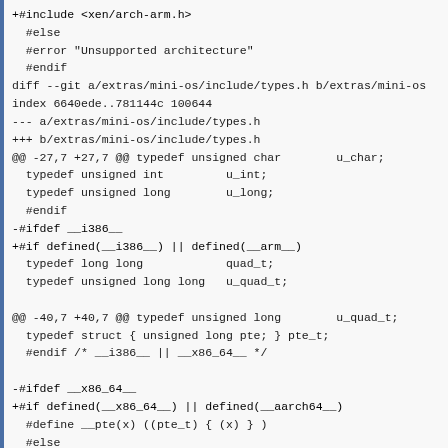+#include <xen/arch-arm.h>
  #else
  #error "Unsupported architecture"
  #endif
diff --git a/extras/mini-os/include/types.h b/extras/mini-os
index 6640ede..781144c 100644
--- a/extras/mini-os/include/types.h
+++ b/extras/mini-os/include/types.h
@@ -27,7 +27,7 @@ typedef unsigned char        u_char;
  typedef unsigned int         u_int;
  typedef unsigned long        u_long;
  #endif
-#ifdef __i386__
+#if defined(__i386__) || defined(__arm__)
  typedef long long            quad_t;
  typedef unsigned long long   u_quad_t;

@@ -40,7 +40,7 @@ typedef unsigned long        u_quad_t;
  typedef struct { unsigned long pte; } pte_t;
  #endif /* __i386__ || __x86_64__ */

-#ifdef __x86_64__
+#if defined(__x86_64__) || defined(__aarch64__)
  #define __pte(x) ((pte_t) { (x) } )
  #else